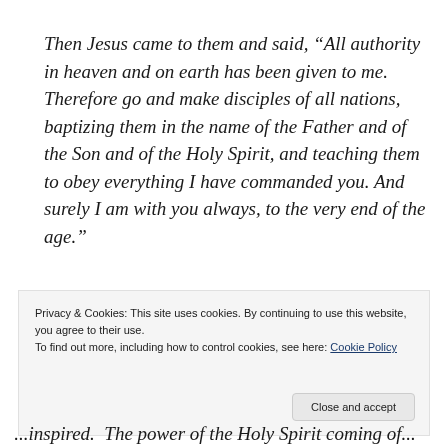Then Jesus came to them and said, “All authority in heaven and on earth has been given to me. Therefore go and make disciples of all nations, baptizing them in the name of the Father and of the Son and of the Holy Spirit, and teaching them to obey everything I have commanded you. And surely I am with you always, to the very end of the age.”
Privacy & Cookies: This site uses cookies. By continuing to use this website, you agree to their use.
To find out more, including how to control cookies, see here: Cookie Policy
Close and accept
...inspired. The power of the Holy Spirit coming of...